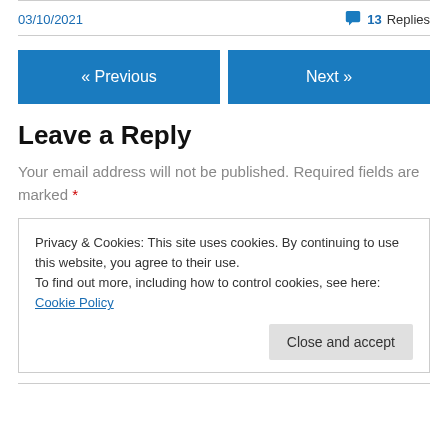03/10/2021
💬 13 Replies
« Previous
Next »
Leave a Reply
Your email address will not be published. Required fields are marked *
Privacy & Cookies: This site uses cookies. By continuing to use this website, you agree to their use.
To find out more, including how to control cookies, see here: Cookie Policy
Close and accept